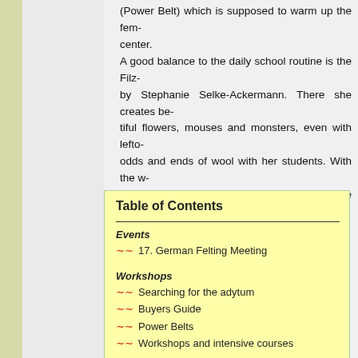(Power Belt) which is supposed to warm up the fem- center. A good balance to the daily school routine is the Filz- by Stephanie Selke-Ackermann. There she creates be- tiful flowers, mouses and monsters, even with lefto- odds and ends of wool with her students. With the w- at the Filz-AG she has to keep the balance between de- termining factors, wishes and claims of hers
Table of Contents
Events
17. German Felting Meeting
Workshops
Searching for the adytum
Buyers Guide
Power Belts
Workshops and intensive courses
Exhibitons